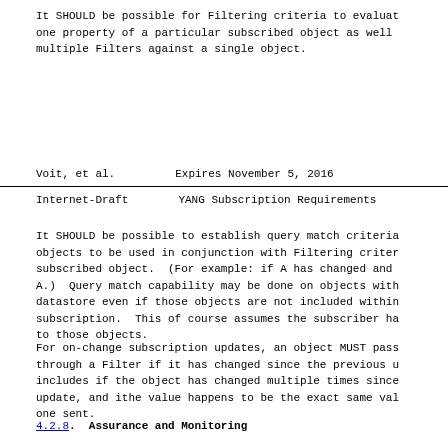It SHOULD be possible for Filtering criteria to evaluate one property of a particular subscribed object as well multiple Filters against a single object.
Voit, et al.                    Expires November 5, 2016
Internet-Draft          YANG Subscription Requirements
It SHOULD be possible to establish query match criteria objects to be used in conjunction with Filtering criter subscribed object.  (For example: if A has changed and A.)  Query match capability may be done on objects with datastore even if those objects are not included within subscription.  This of course assumes the subscriber ha to those objects.
For on-change subscription updates, an object MUST pass through a Filter if it has changed since the previous u includes if the object has changed multiple times since update, and ithe value happens to be the exact same val one sent.
4.2.8.  Assurance and Monitoring